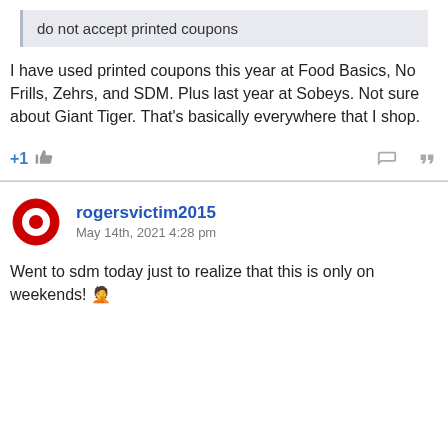do not accept printed coupons
I have used printed coupons this year at Food Basics, No Frills, Zehrs, and SDM. Plus last year at Sobeys. Not sure about Giant Tiger. That's basically everywhere that I shop.
+1 [thumbs up icon] [reply icon] [quote icon]
rogersvictim2015
May 14th, 2021 4:28 pm
Went to sdm today just to realize that this is only on weekends! 🤦